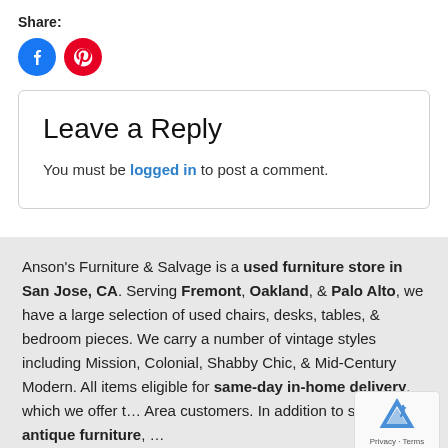Share:
[Figure (other): Social share icons: Facebook (blue circle) and Pinterest (red circle)]
Leave a Reply
You must be logged in to post a comment.
Anson's Furniture & Salvage is a used furniture store in San Jose, CA. Serving Fremont, Oakland, & Palo Alto, we have a large selection of used chairs, desks, tables, & bedroom pieces. We carry a number of vintage styles including Mission, Colonial, Shabby Chic, & Mid-Century Modern. All items eligible for same-day in-home delivery, which we offer to Bay Area customers. In addition to selling antique furniture,